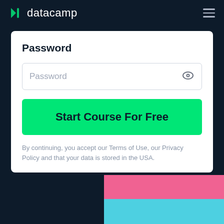datacamp
Password
[Figure (screenshot): Password input field with placeholder text 'Password' and an eye icon for show/hide toggle]
[Figure (screenshot): Green 'Start Course For Free' button]
By continuing, you accept our Terms of Use, our Privacy Policy and that your data is stored in the USA.
[Figure (illustration): Pink and cyan color bars at bottom right of page]